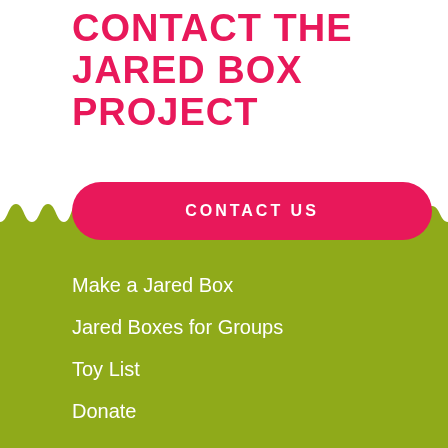Contact the Jared Box Project
CONTACT US
Make a Jared Box
Jared Boxes for Groups
Toy List
Donate